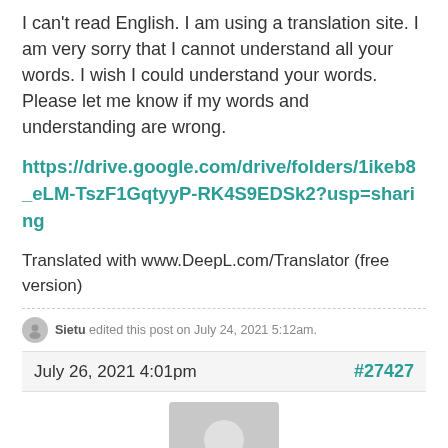I can't read English. I am using a translation site. I am very sorry that I cannot understand all your words. I wish I could understand your words. Please let me know if my words and understanding are wrong.
https://drive.google.com/drive/folders/1ikeb8_eLM-TszF1GqtyyP-RK4S9EDSk2?usp=sharing
Translated with www.DeepL.com/Translator (free version)
Sietu edited this post on July 24, 2021 5:12am.
July 26, 2021 4:01pm
#27427
[Figure (photo): User avatar placeholder for Tx Williep — grey silhouette icon on grey background]
Tx Williep